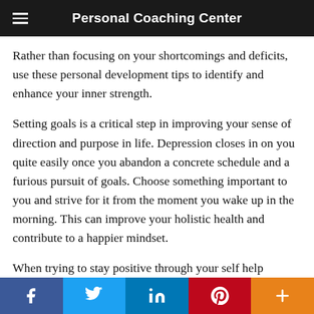Personal Coaching Center
Rather than focusing on your shortcomings and deficits, use these personal development tips to identify and enhance your inner strength.
Setting goals is a critical step in improving your sense of direction and purpose in life. Depression closes in on you quite easily once you abandon a concrete schedule and a furious pursuit of goals. Choose something important to you and strive for it from the moment you wake up in the morning. This can improve your holistic health and contribute to a happier mindset.
When trying to stay positive through your self help process, take the time to look at your surroundings and admire